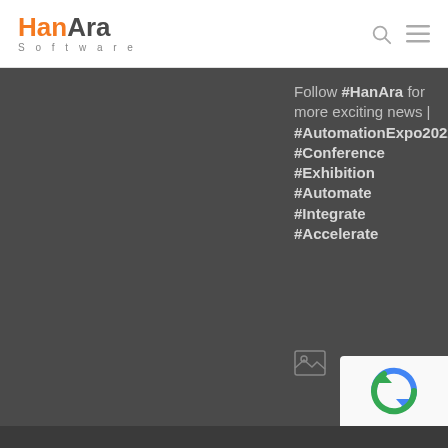HanAra Software
Follow #HanAra for more exciting news | #AutomationExpo2022 #Conference #Exhibition #Automate #Integrate #Accelerate
[Figure (other): Small image thumbnail placeholder icon]
[Figure (other): reCAPTCHA verification badge]